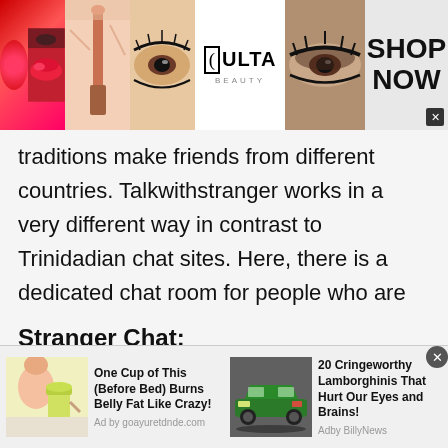[Figure (screenshot): ULTA Beauty advertisement banner with lipstick, makeup brush, eye, ULTA logo, smoky eye, and SHOP NOW panel]
traditions make friends from different countries. Talkwithstranger works in a very different way in contrast to Trinidadian chat sites. Here, there is a dedicated chat room for people who are seeking to make new friends. Further these people can also video chat with random people of Trinidad and Tobago after being friends with Trinidadian people.
Stranger Chat:
Stranger chat is another thing that makes
[Figure (screenshot): Bottom ad bar with two advertisements: 'One Cup of This (Before Bed) Burns Belly Fat Like Crazy!' with woman drinking image, and '20 Cringeworthy Lamborghinis That Hurt Our Eyes and Brains!' with green Lamborghini image]